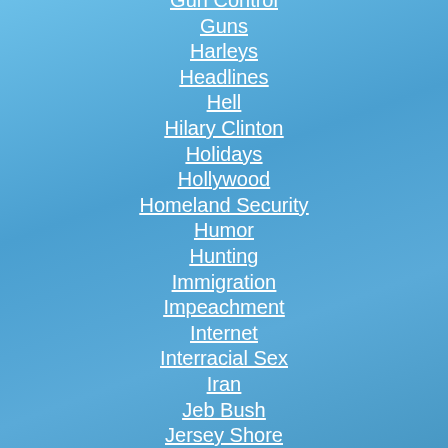Gun Control
Guns
Harleys
Headlines
Hell
Hilary Clinton
Holidays
Hollywood
Homeland Security
Humor
Hunting
Immigration
Impeachment
Internet
Interracial Sex
Iran
Jeb Bush
Jersey Shore
Jesus
Joe Biden
John Fleming